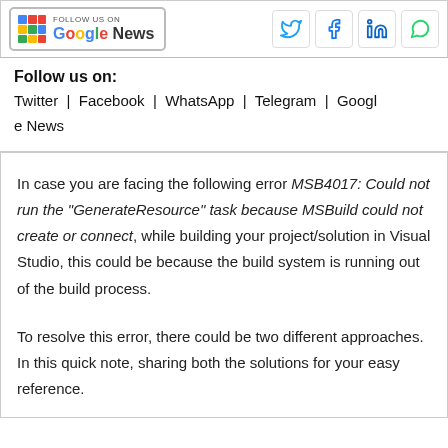[Figure (logo): Google News follow us on badge with colorful icon]
[Figure (infographic): Social media share icons: Twitter (bird), Facebook (f), LinkedIn (in), WhatsApp (phone)]
Follow us on:
Twitter | Facebook | WhatsApp | Telegram | Google News
In case you are facing the following error MSB4017: Could not run the "GenerateResource" task because MSBuild could not create or connect, while building your project/solution in Visual Studio, this could be because the build system is running out of the build process.

To resolve this error, there could be two different approaches. In this quick note, sharing both the solutions for your easy reference.